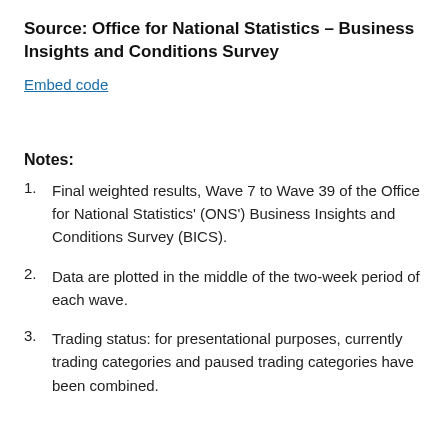Source: Office for National Statistics – Business Insights and Conditions Survey
Embed code
Notes:
Final weighted results, Wave 7 to Wave 39 of the Office for National Statistics' (ONS') Business Insights and Conditions Survey (BICS).
Data are plotted in the middle of the two-week period of each wave.
Trading status: for presentational purposes, currently trading categories and paused trading categories have been combined.